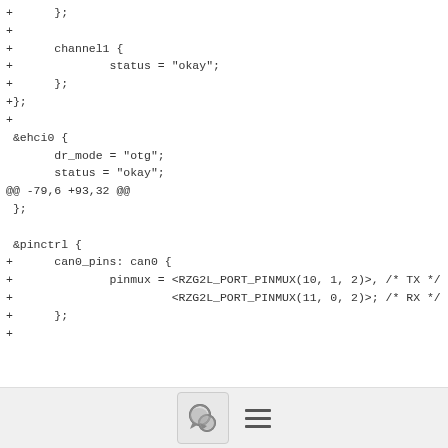+      };
+
+      channel1 {
+              status = "okay";
+      };
+};
+
 &ehci0 {
       dr_mode = "otg";
       status = "okay";
@@ -79,6 +93,32 @@
 };

 &pinctrl {
+      can0_pins: can0 {
+              pinmux = <RZG2L_PORT_PINMUX(10, 1, 2)>, /* TX */
+                       <RZG2L_PORT_PINMUX(11, 0, 2)>; /* RX */
+      };
+
[Figure (other): Footer bar with chat bubble icon button and hamburger menu icon]